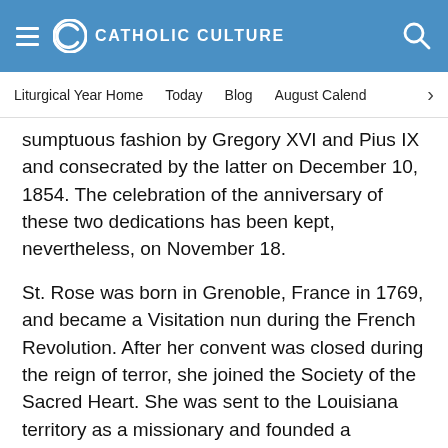CATHOLIC CULTURE
Liturgical Year Home   Today   Blog   August Calendar
sumptuous fashion by Gregory XVI and Pius IX and consecrated by the latter on December 10, 1854. The celebration of the anniversary of these two dedications has been kept, nevertheless, on November 18.
St. Rose was born in Grenoble, France in 1769, and became a Visitation nun during the French Revolution. After her convent was closed during the reign of terror, she joined the Society of the Sacred Heart. She was sent to the Louisiana territory as a missionary and founded a boarding school for daughters of pioneers near St. Louis and opened the first free school west of Missouri. She also began a school for Indians. She died in 1882 in St. Charles, Missouri, and was canonized in 1988.